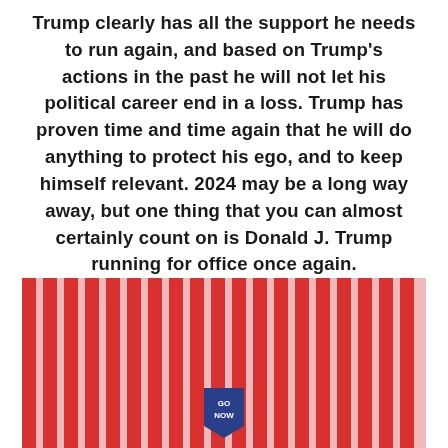Trump clearly has all the support he needs to run again, and based on Trump's actions in the past he will not let his political career end in a loss. Trump has proven time and time again that he will do anything to protect his ego, and to keep himself relevant. 2024 may be a long way away, but one thing that you can almost certainly count on is Donald J. Trump running for office once again.
[Figure (illustration): Red and white vertical stripes resembling an American flag pattern, with a small blue pennant/badge at the bottom center containing white text.]